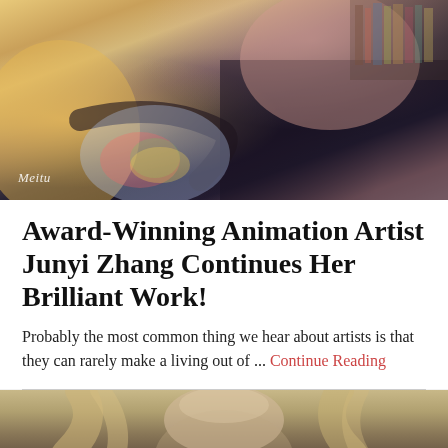[Figure (photo): Woman drawing on a digital tablet with a stylus, wearing a black jacket, sitting in a room with bookshelves. Meitu watermark in bottom-left corner.]
Award-Winning Animation Artist Junyi Zhang Continues Her Brilliant Work!
Probably the most common thing we hear about artists is that they can rarely make a living out of ... Continue Reading
[Figure (photo): Partial photo of a woman with long blonde wavy hair and a sleeveless top, cropped at the bottom of the page.]